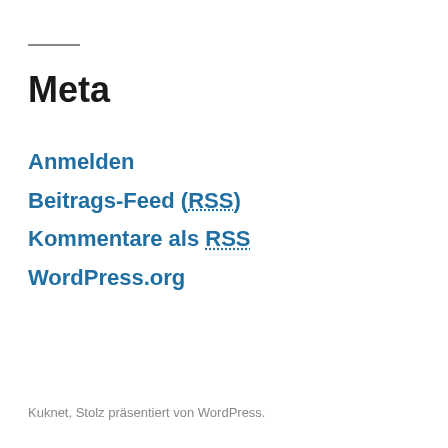Meta
Anmelden
Beitrags-Feed (RSS)
Kommentare als RSS
WordPress.org
Kuknet, Stolz präsentiert von WordPress.